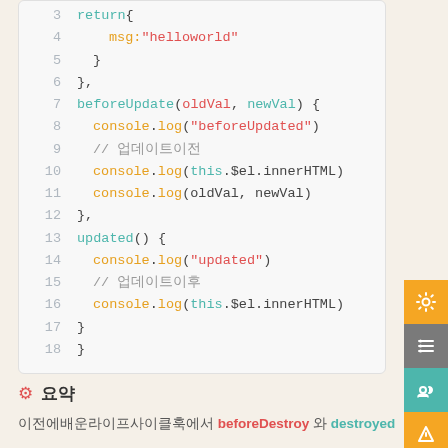[Figure (screenshot): Code editor screenshot showing Vue.js lifecycle hook methods: beforeUpdate and updated, with syntax highlighting. Lines 3-18 visible showing return block, beforeUpdate(oldVal, newVal) with console.log statements and comments, updated() with console.log statements and comments.]
⚙ 요약
이전에배운라이프사이클훅에서 beforeDestroy 와 destroyed